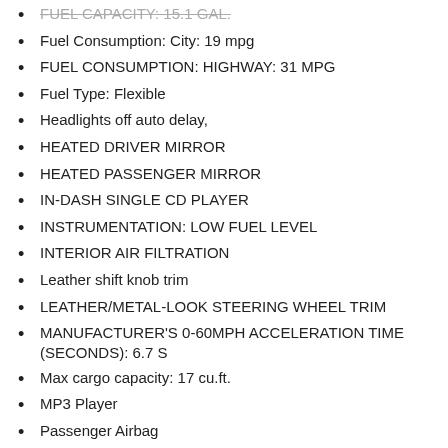FUEL CAPACITY: 15.1 GAL.
Fuel Consumption: City: 19 mpg
FUEL CONSUMPTION: HIGHWAY: 31 MPG
Fuel Type: Flexible
Headlights off auto delay,
HEATED DRIVER MIRROR
HEATED PASSENGER MIRROR
IN-DASH SINGLE CD PLAYER
INSTRUMENTATION: LOW FUEL LEVEL
INTERIOR AIR FILTRATION
Leather shift knob trim
LEATHER/METAL-LOOK STEERING WHEEL TRIM
MANUFACTURER'S 0-60MPH ACCELERATION TIME (SECONDS): 6.7 S
Max cargo capacity: 17 cu.ft.
MP3 Player
Passenger Airbag
POWER REMOTE DRIVER MIRROR ADJUSTMENT
POWER REMOTE PASSENGER MIRROR